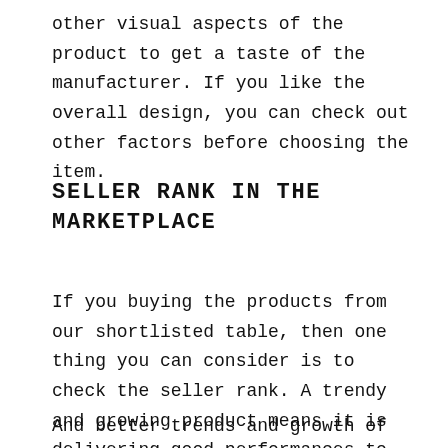other visual aspects of the product to get a taste of the manufacturer. If you like the overall design, you can check out other factors before choosing the item.
SELLER RANK IN THE MARKETPLACE
If you buying the products from our shortlisted table, then one thing you can consider is to check the seller rank. A trendy and growing product means it is delivering good performances to most of the customers.
And better trends and growth of selling means better seller rank. And color tie for black shirt from a